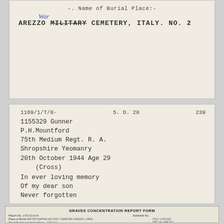Name of Burial Place:-
War (handwritten)
AREZZO MILITARY [strikethrough] CEMETERY, ITALY. NO. 2
1169/1/T/8·    5. D. 28    239
1155329 Gunner
P.H. Mountford
75th Medium Regt. R.A.
Shropshire Yeomanry
20th October 1944 Age 29
(Cross)
In ever loving memory
Of my dear son
Never forgotten
| Regiment | Army No. | Name and Initials | Rank | Date of Death | Previously Buried at ALLIED MIL CEM | Re-buried at | Date of Re-burial | Plot | Row | Grave |
| --- | --- | --- | --- | --- | --- | --- | --- | --- | --- | --- |
| ADC. 3/L MTE | 4753365 | MOON | G. | 10.11.44 | 2.H.5. | BRITISH EMPIRE MILITARY | 27. 5.65. | 5a | D. | 19 |